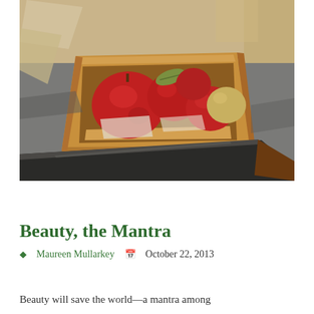[Figure (illustration): A still life painting viewed from above showing a wooden basket/box containing several red apples with a green leaf, set on a dark cloth surface with a large knife/cleaver visible in the foreground and papers/documents visible in the background.]
Beauty, the Mantra
Maureen Mullarkey   October 22, 2013
Beauty will save the world—a mantra among